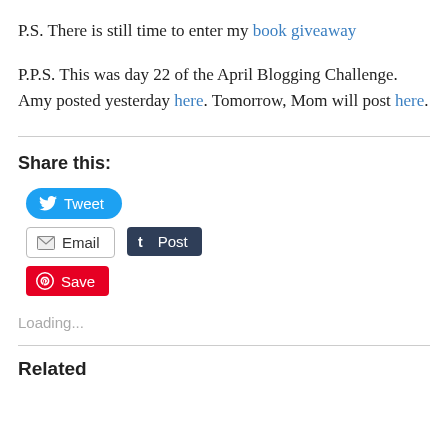P.S. There is still time to enter my book giveaway
P.P.S. This was day 22 of the April Blogging Challenge. Amy posted yesterday here. Tomorrow, Mom will post here.
Share this:
[Figure (screenshot): Social sharing buttons: Tweet (Twitter/blue), Email (grey outlined), Post (Tumblr/dark navy), Save (Pinterest/red)]
Loading...
Related